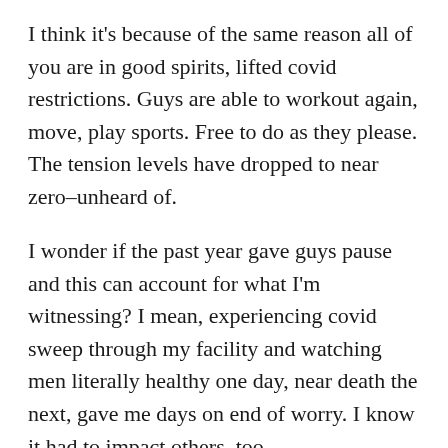I think it's because of the same reason all of you are in good spirits, lifted covid restrictions. Guys are able to workout again, move, play sports. Free to do as they please. The tension levels have dropped to near zero–unheard of.
I wonder if the past year gave guys pause and this can account for what I'm witnessing? I mean, experiencing covid sweep through my facility and watching men literally healthy one day, near death the next, gave me days on end of worry. I know it had to impact others, too.
I didn't need covid to appreciate life, but the thought of possibly dying behind bars did cause me to